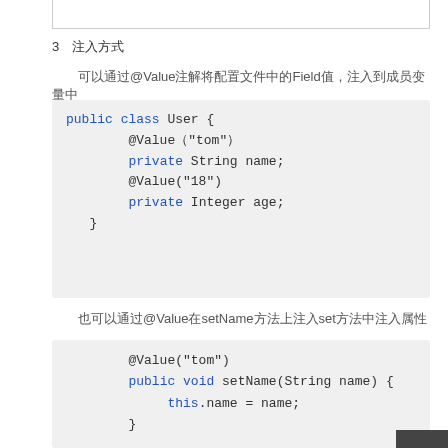3　注入方式
可以通过@Value注解将配置文件中的Field值，注入到成员变量中
[Figure (screenshot): Java code block showing public class User with @Value annotations on private String name and private Integer age fields]
也可以通过@Value注解在setName方法上注入set方法中注入属性
[Figure (screenshot): Java code block showing @Value("tom") on public void setName method with this.name = name inside]